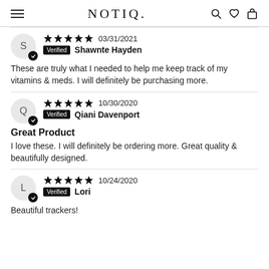NOTIQ.
Review by Shawnte Hayden — 03/31/2021 — 5 stars — Verified — These are truly what I needed to help me keep track of my vitamins & meds. I will definitely be purchasing more.
Review by Qiani Davenport — 10/30/2020 — 5 stars — Verified — Great Product — I love these. I will definitely be ordering more. Great quality & beautifully designed.
Review by Lori — 10/24/2020 — 5 stars — Verified — Beautiful trackers!